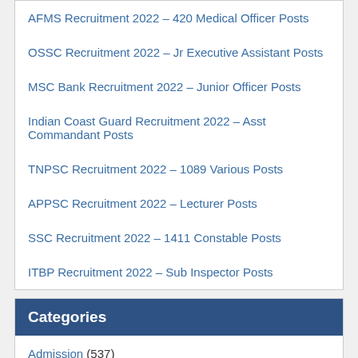AFMS Recruitment 2022 – 420 Medical Officer Posts
OSSC Recruitment 2022 – Jr Executive Assistant Posts
MSC Bank Recruitment 2022 – Junior Officer Posts
Indian Coast Guard Recruitment 2022 – Asst Commandant Posts
TNPSC Recruitment 2022 – 1089 Various Posts
APPSC Recruitment 2022 – Lecturer Posts
SSC Recruitment 2022 – 1411 Constable Posts
ITBP Recruitment 2022 – Sub Inspector Posts
Categories
Admission (537)
Admit Card (34)
Banking Jobs (109)
Defence Jobs (244)
Engineering Jobs (5)